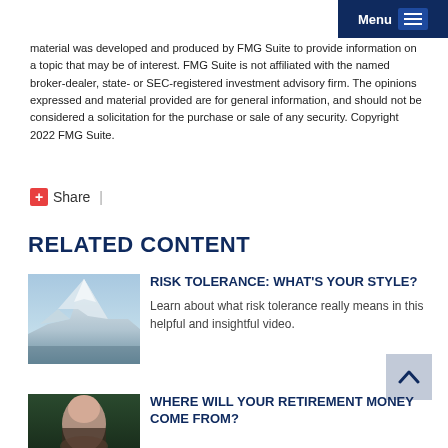Menu
material was developed and produced by FMG Suite to provide information on a topic that may be of interest. FMG Suite is not affiliated with the named broker-dealer, state- or SEC-registered investment advisory firm. The opinions expressed and material provided are for general information, and should not be considered a solicitation for the purchase or sale of any security. Copyright 2022 FMG Suite.
Share  |
RELATED CONTENT
[Figure (photo): Snow-capped mountain peaks with clouds, blue-toned landscape photo]
RISK TOLERANCE: WHAT'S YOUR STYLE?
Learn about what risk tolerance really means in this helpful and insightful video.
[Figure (photo): Close-up portrait photo, partially visible]
WHERE WILL YOUR RETIREMENT MONEY COME FROM?